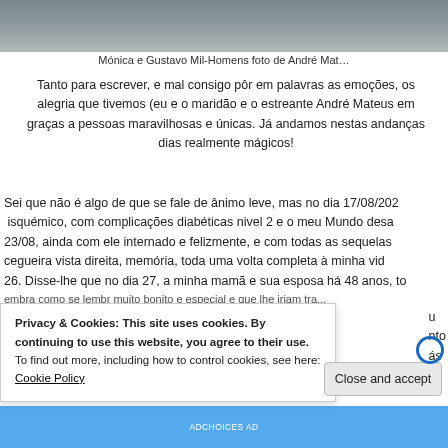[Figure (photo): Partial photo strip at top of page, showing an outdoor scene with people walking]
Mónica e Gustavo Mil-Homens foto de André Mat…
Tanto para escrever, e mal consigo pôr em palavras as emoções, os alegria que tivemos (eu e o maridão e o estreante André Mateus em graças a pessoas maravilhosas e únicas. Já andamos nestas andanças dias realmente mágicos!
Sei que não é algo de que se fale de ânimo leve, mas no dia 17/08/202 isquémico, com complicações diabéticas nivel 2 e o meu Mundo desa 23/08, ainda com ele internado e felizmente, e com todas as sequelas cegueira vista direita, memória, toda uma volta completa à minha vid 26. Disse-lhe que no dia 27, a minha mamã e sua esposa há 48 anos, to
Privacy & Cookies: This site uses cookies. By continuing to use this website, you agree to their use. To find out more, including how to control cookies, see here: Cookie Policy
Close and accept